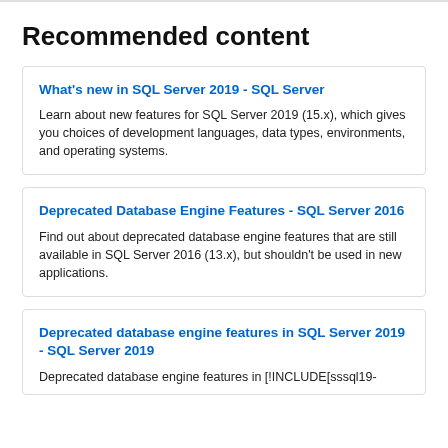Recommended content
What's new in SQL Server 2019 - SQL Server
Learn about new features for SQL Server 2019 (15.x), which gives you choices of development languages, data types, environments, and operating systems.
Deprecated Database Engine Features - SQL Server 2016
Find out about deprecated database engine features that are still available in SQL Server 2016 (13.x), but shouldn't be used in new applications.
Deprecated database engine features in SQL Server 2019 - SQL Server 2019
Deprecated database engine features in [!INCLUDE[sssql19-